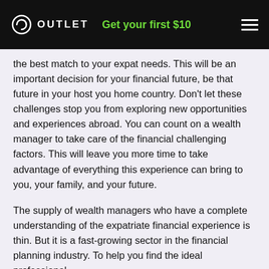OUTLET  Get your first $10
the best match to your expat needs. This will be an important decision for your financial future, be that future in your host you home country. Don't let these challenges stop you from exploring new opportunities and experiences abroad. You can count on a wealth manager to take care of the financial challenging factors. This will leave you more time to take advantage of everything this experience can bring to you, your family, and your future.
The supply of wealth managers who have a complete understanding of the expatriate financial experience is thin. But it is a fast-growing sector in the financial planning industry. To help you find the ideal professional,